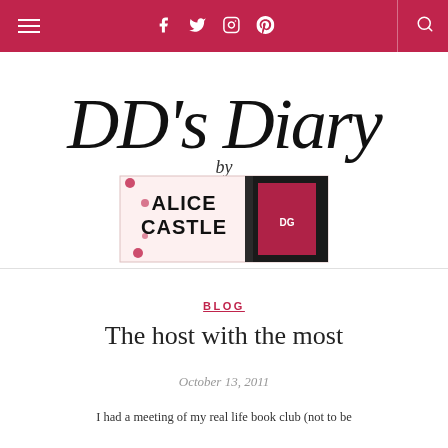DD's Diary by Alice Castle — navigation bar with social icons
[Figure (logo): DD's Diary cursive script logo with Alice Castle book cover image below]
BLOG
The host with the most
October 13, 2011
I had a meeting of my real life book club (not to be